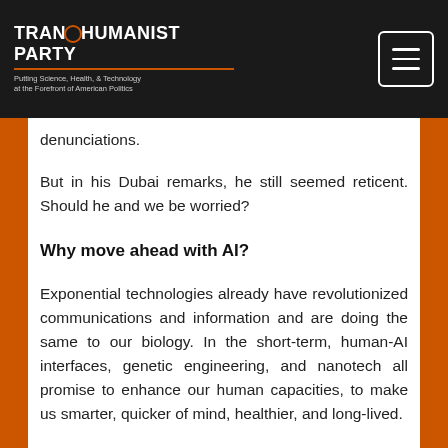TRANSHUMANIST PARTY — Putting Science, Health, & Technology at the Forefront of American Politics
denunciations.
But in his Dubai remarks, he still seemed reticent. Should he and we be worried?
Why move ahead with AI?
Exponential technologies already have revolutionized communications and information and are doing the same to our biology. In the short-term, human-AI interfaces, genetic engineering, and nanotech all promise to enhance our human capacities, to make us smarter, quicker of mind, healthier, and long-lived.
In the long-term Diamandis contends that "Enabled